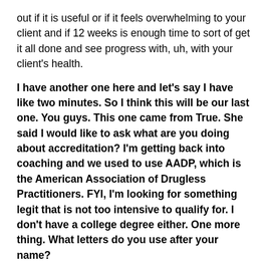out if it is useful or if it feels overwhelming to your client and if 12 weeks is enough time to sort of get it all done and see progress with, uh, with your client's health.
I have another one here and let's say I have like two minutes. So I think this will be our last one. You guys. This one came from True. She said I would like to ask what are you doing about accreditation? I'm getting back into coaching and we used to use AADP, which is the American Association of Drugless Practitioners. FYI, I'm looking for something legit that is not too intensive to qualify for. I don't have a college degree either. One more thing. What letters do you use after your name?